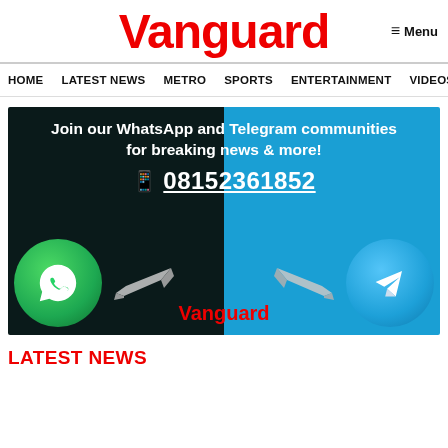Vanguard  ≡ Menu
HOME  LATEST NEWS  METRO  SPORTS  ENTERTAINMENT  VIDEOS
[Figure (infographic): Banner ad to join Vanguard WhatsApp and Telegram communities for breaking news. Text: 'Join our WhatsApp and Telegram communities for breaking news & more! 08152361852'. Shows WhatsApp logo (green circle) on the left dark panel and Telegram logo (blue circle) on the right blue panel, with pointing hands and Vanguard red text at center bottom.]
LATEST NEWS